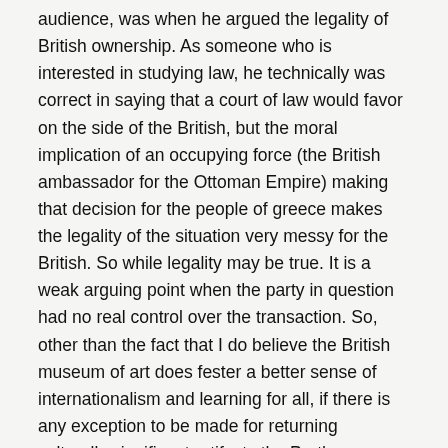audience, was when he argued the legality of British ownership. As someone who is interested in studying law, he technically was correct in saying that a court of law would favor on the side of the British, but the moral implication of an occupying force (the British ambassador for the Ottoman Empire) making that decision for the people of greece makes the legality of the situation very messy for the British. So while legality may be true. It is a weak arguing point when the party in question had no real control over the transaction. So, other than the fact that I do believe the British museum of art does fester a better sense of internationalism and learning for all, if there is any exception to be made for returning culturally significant artifacts the Parthenon Marbles is it. Now speaking to the strengths of Andrew George and Stephen Fry, I think they did an amazing job appealing to the emotion of the audience allowing them to overlook the “legality” of the transaction and consider the moral implications that I stated above. Also Stephen Fry did a great job explaining the message it would send to the world if Britain was willing to work with Greece and be “classy” by making an effort to right one of the many wrongs in Britain’s past. He also explained